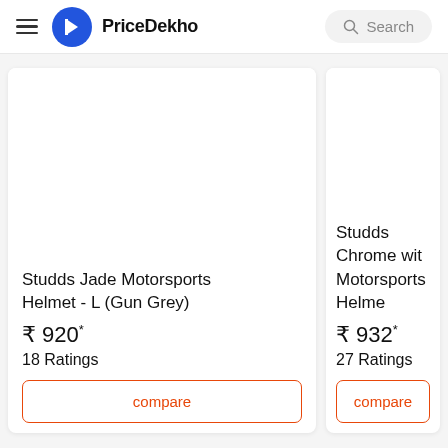PriceDekho
Studds Jade Motorsports Helmet - L (Gun Grey)
₹ 920*
18 Ratings
compare
Studds Chrome with Motorsports Helme...
₹ 932*
27 Ratings
compare